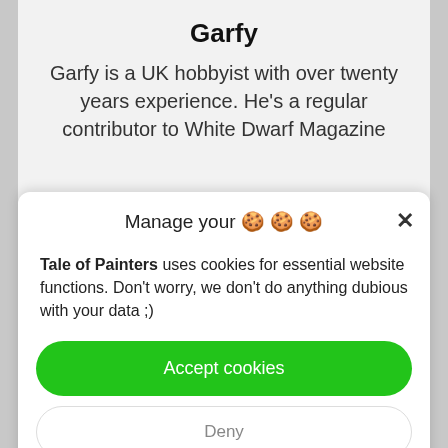Garfy
Garfy is a UK hobbyist with over twenty years experience. He's a regular contributor to White Dwarf Magazine
Manage your 🍪🍪🍪
Tale of Painters uses cookies for essential website functions. Don't worry, we don't do anything dubious with your data ;)
Accept cookies
Deny
View preferences